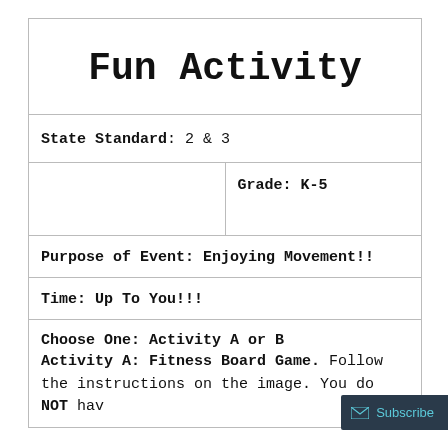Fun Activity
State Standard: 2 & 3
Grade: K-5
Purpose of Event: Enjoying Movement!!
Time: Up To You!!!
Choose One: Activity A or B
Activity A: Fitness Board Game. Follow the instructions on the image. You do NOT hav…